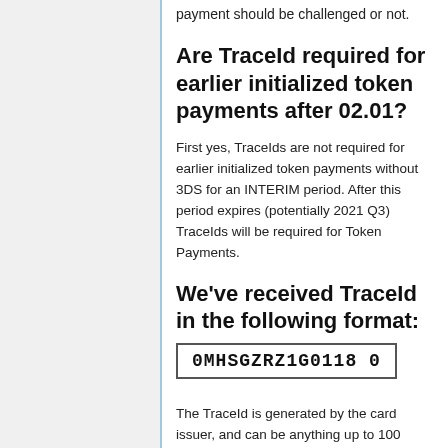payment should be challenged or not.
Are TraceId required for earlier initialized token payments after 02.01?
First yes, TraceIds are not required for earlier initialized token payments without 3DS for an INTERIM period. After this period expires (potentially 2021 Q3) TraceIds will be required for Token Payments.
We've received TraceId in the following format:
0MHSGZRZ1G0118  0
The TraceId is generated by the card issuer, and can be anything up to 100 characters. Whitespaces and 0s should